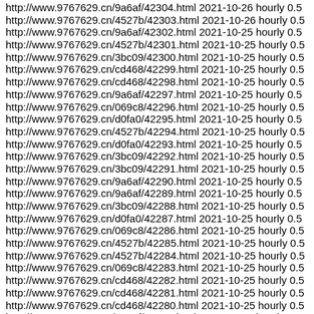http://www.9767629.cn/9a6af/42304.html 2021-10-26 hourly 0.5
http://www.9767629.cn/4527b/42303.html 2021-10-26 hourly 0.5
http://www.9767629.cn/9a6af/42302.html 2021-10-25 hourly 0.5
http://www.9767629.cn/4527b/42301.html 2021-10-25 hourly 0.5
http://www.9767629.cn/3bc09/42300.html 2021-10-25 hourly 0.5
http://www.9767629.cn/cd468/42299.html 2021-10-25 hourly 0.5
http://www.9767629.cn/cd468/42298.html 2021-10-25 hourly 0.5
http://www.9767629.cn/9a6af/42297.html 2021-10-25 hourly 0.5
http://www.9767629.cn/069c8/42296.html 2021-10-25 hourly 0.5
http://www.9767629.cn/d0fa0/42295.html 2021-10-25 hourly 0.5
http://www.9767629.cn/4527b/42294.html 2021-10-25 hourly 0.5
http://www.9767629.cn/d0fa0/42293.html 2021-10-25 hourly 0.5
http://www.9767629.cn/3bc09/42292.html 2021-10-25 hourly 0.5
http://www.9767629.cn/3bc09/42291.html 2021-10-25 hourly 0.5
http://www.9767629.cn/9a6af/42290.html 2021-10-25 hourly 0.5
http://www.9767629.cn/9a6af/42289.html 2021-10-25 hourly 0.5
http://www.9767629.cn/3bc09/42288.html 2021-10-25 hourly 0.5
http://www.9767629.cn/d0fa0/42287.html 2021-10-25 hourly 0.5
http://www.9767629.cn/069c8/42286.html 2021-10-25 hourly 0.5
http://www.9767629.cn/4527b/42285.html 2021-10-25 hourly 0.5
http://www.9767629.cn/4527b/42284.html 2021-10-25 hourly 0.5
http://www.9767629.cn/069c8/42283.html 2021-10-25 hourly 0.5
http://www.9767629.cn/cd468/42282.html 2021-10-25 hourly 0.5
http://www.9767629.cn/cd468/42281.html 2021-10-25 hourly 0.5
http://www.9767629.cn/cd468/42280.html 2021-10-25 hourly 0.5
http://www.9767629.cn/9a6af/42279.html 2021-10-25 hourly 0.5